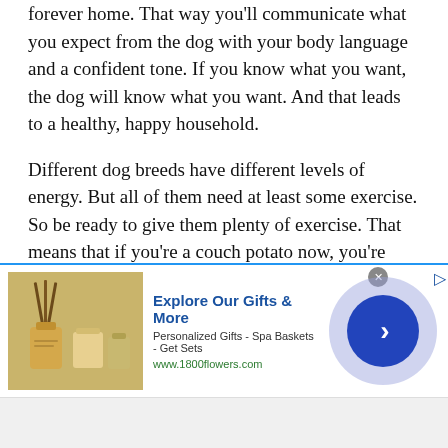forever home. That way you'll communicate what you expect from the dog with your body language and a confident tone. If you know what you want, the dog will know what you want. And that leads to a healthy, happy household.
Different dog breeds have different levels of energy. But all of them need at least some exercise. So be ready to give them plenty of exercise. That means that if you're a couch potato now, you're going to have to change your lifestyle. Otherwise, your energetic buddy will turn into a couch dogtato. [Accepts award for probably the worst dog pun of all time.]
[Figure (infographic): Advertisement banner for 1800flowers.com showing gift products image on left, text 'Explore Our Gifts & More / Personalized Gifts - Spa Baskets - Get Sets / www.1800flowers.com' in center, and a blue circular arrow button on right. A gray close (x) button appears top right of the ad.]